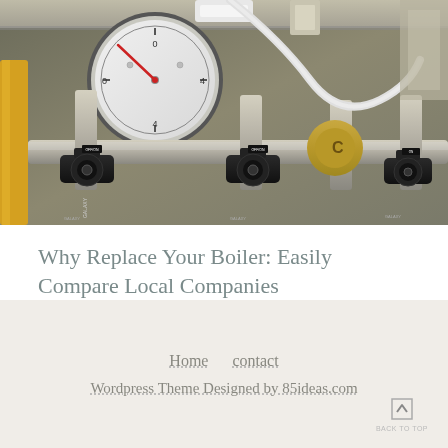[Figure (photo): Close-up photograph of boiler/heating system components including pressure gauge with red needle, multiple black valve handles labeled GALAXY, brass fittings, pipes, and metallic connectors against a blurred industrial background.]
Why Replace Your Boiler: Easily Compare Local Companies
Home   contact
Wordpress Theme Designed by 85ideas.com